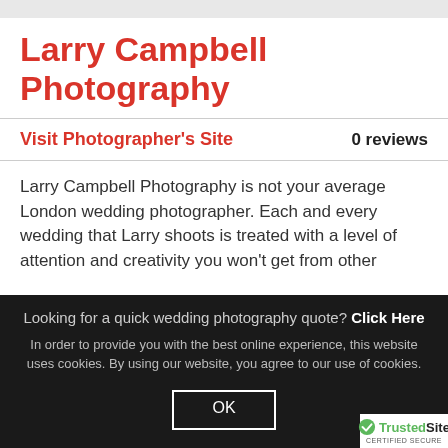Larry Campbell Photography
Visit Photographer's Site	0 reviews
Larry Campbell Photography is not your average London wedding photographer. Each and every wedding that Larry shoots is treated with a level of attention and creativity you won't get from other
Looking for a quick wedding photography quote? Click Here
In order to provide you with the best online experience, this website uses cookies. By using our website, you agree to our use of cookies.
OK
[Figure (logo): TrustedSite Certified Secure badge with green checkmark]